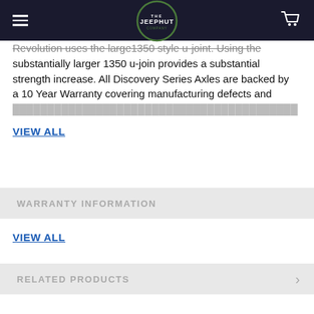The JeepHut - navigation bar with hamburger menu and cart icon
Revolution uses the large1350 style u-joint. Using the substantially larger 1350 u-join provides a substantial strength increase. All Discovery Series Axles are backed by a 10 Year Warranty covering manufacturing defects and [partially visible text]
VIEW ALL
WARRANTY INFORMATION
VIEW ALL
RELATED PRODUCTS